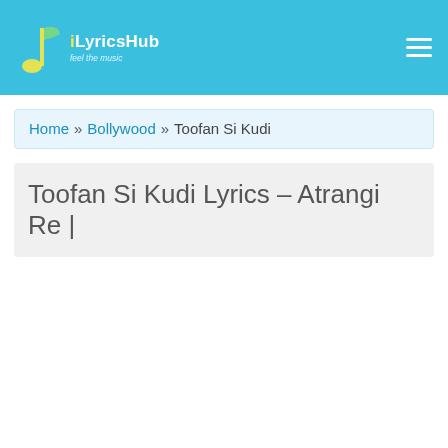[Figure (logo): iLyricsHub logo with musical note icon and tagline 'feel the music']
Home » Bollywood » Toofan Si Kudi
Toofan Si Kudi Lyrics – Atrangi Re |